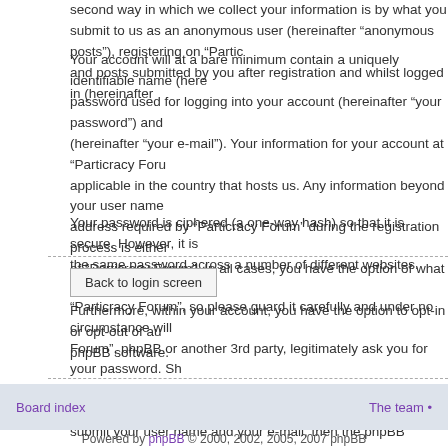second way in which we collect your information is by what you submit to us as an anonymous user (hereinafter “anonymous posts”), registering on “Particracy Forum” and posts submitted by you after registration and whilst logged in (hereinafter…
Your account will at a bare minimum contain a uniquely identifiable name (hereinafter… password used for logging into your account (hereinafter “your password”) and… (hereinafter “your e-mail”). Your information for your account at “Particracy Forum”… applicable in the country that hosts us. Any information beyond your user name, address required by “Particracy Forum” during the registration process is either… of “Particracy Forum”. In all cases, you have the option of what information in y… Furthermore, within your account, you have the option to opt-in or opt-out of au… phpBB software.
Your password is ciphered (a one-way hash) so that it is secure. However, it is… the same password across a number of different websites. Your password is th… “Particracy Forum”, so please guard it carefully and under no circumstance will… Forum”, phpBB or another 3rd party, legitimately ask you for your password. Sh… account, you can use the “I forgot my password” feature provided by the phpBB… submit your user name and your e-mail, then the phpBB software will generate… account.
Back to login screen
Board index   The team •   Powered by phpBB © 2000, 2002, 2005, 2007 phpBB…